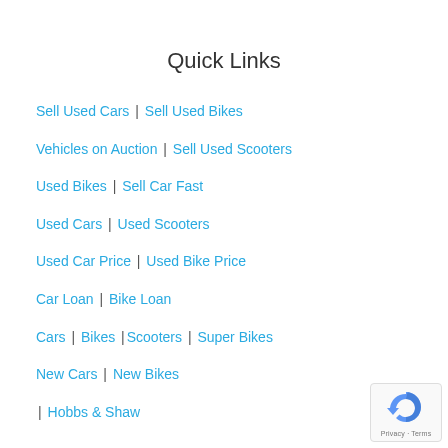Quick Links
Sell Used Cars | Sell Used Bikes
Vehicles on Auction | Sell Used Scooters
Used Bikes | Sell Car Fast
Used Cars | Used Scooters
Used Car Price | Used Bike Price
Car Loan | Bike Loan
Cars | Bikes |Scooters | Super Bikes
New Cars | New Bikes
| Hobbs & Shaw
[Figure (logo): reCAPTCHA badge with Privacy and Terms text]